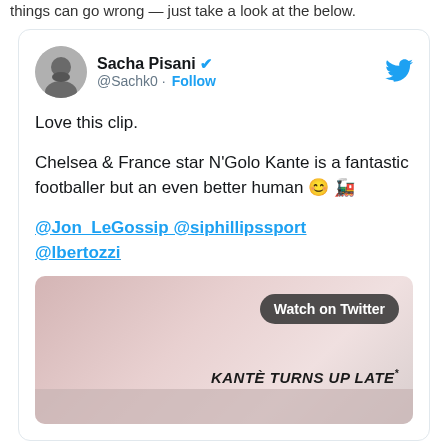things can go wrong — just take a look at the below.
[Figure (screenshot): Tweet by Sacha Pisani (@Sachk0) with verified badge. Tweet text: 'Love this clip. Chelsea & France star N'Golo Kante is a fantastic footballer but an even better human 😊🚂 @Jon_LeGossip @siphillipssport @lbertozzi'. Embedded video thumbnail showing 'KANTÈ TURNS UP LATE' with a Watch on Twitter button.]